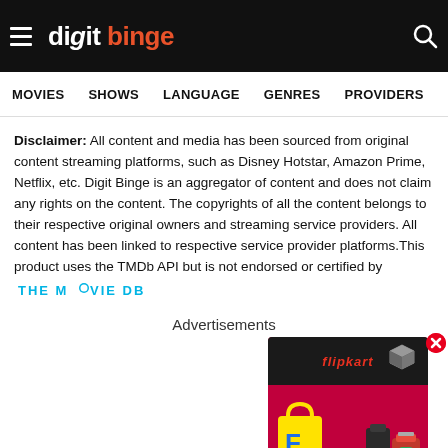digit binge — navigation header with MOVIES, SHOWS, LANGUAGE, GENRES, PROVIDERS, LATE
Disclaimer: All content and media has been sourced from original content streaming platforms, such as Disney Hotstar, Amazon Prime, Netflix, etc. Digit Binge is an aggregator of content and does not claim any rights on the content. The copyrights of all the content belongs to their respective original owners and streaming service providers. All content has been linked to respective service provider platforms.This product uses the TMDb API but is not endorsed or certified by THE MOVIE DB
Advertisements
[Figure (photo): Flipkart advertisement banner showing a dark box with red Flipkart branding, yellow shopping bag with Flipkart logo, and kitchen appliances on a red/pink background. A 3D cube icon and red close button are visible.]